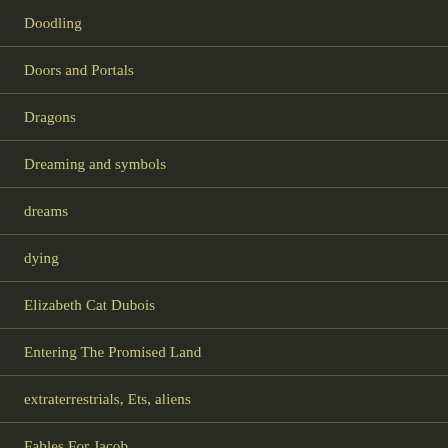Doodling
Doors and Portals
Dragons
Dreaming and symbols
dreams
dying
Elizabeth Cat Dubois
Entering The Promised Land
extraterrestrials, Ets, aliens
Fables For Jacob
Fairies